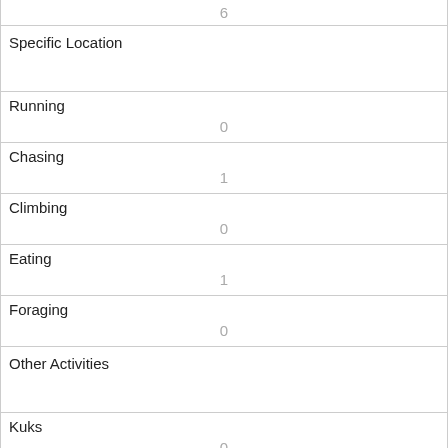| 6 |
| Specific Location |  |
| Running | 0 |
| Chasing | 1 |
| Climbing | 0 |
| Eating | 1 |
| Foraging | 0 |
| Other Activities |  |
| Kuks | 0 |
| Quaas | 0 |
| Moans | 0 |